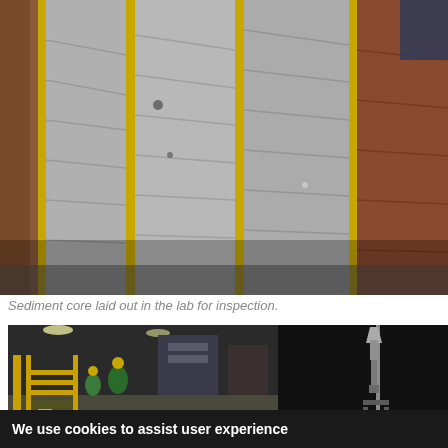[Figure (photo): Sediment core samples laid out in trays in a laboratory setting. The cores are long grey cylindrical sections in yellow-edged trays, showing layered sediment structure. A reddish core sample is visible on the right edge.]
Sediment core laid out in the lab for inspection.
[Figure (photo): Left half shows a ship or offshore platform deck at night with workers in high-visibility gear and yellow scaffolding/equipment. Right half is dark/black with a tall thin instrument or coring device visible extending upward with a conical top.]
We use cookies to assist user experience